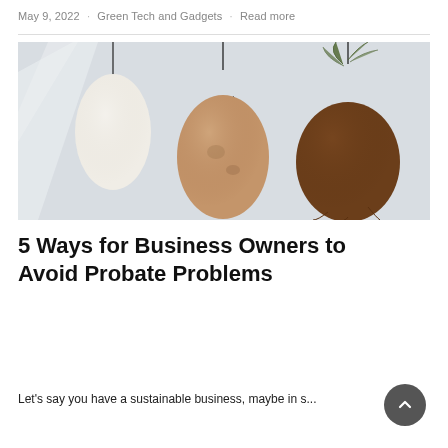May 9, 2022 · Green Tech and Gadgets · Read more
[Figure (photo): Three hanging organic pod-shaped objects suspended by thin strings or roots against a light gray wall. The leftmost is white/cream, the center is tan/pinkish-brown, and the rightmost is dark brown with a small plant growing from the top.]
5 Ways for Business Owners to Avoid Probate Problems
Let's say you have a sustainable business, maybe in s...